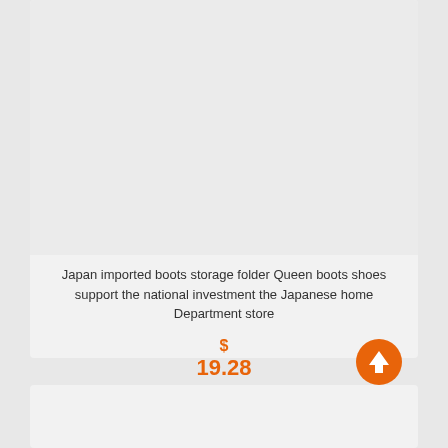[Figure (photo): Product image area (blank/light gray placeholder) for boots storage folder]
Japan imported boots storage folder Queen boots shoes support the national investment the Japanese home Department store
$
19.28
[Figure (illustration): Orange circular button with white upward arrow icon]
[Figure (photo): Second product card image area (blank/light gray placeholder)]